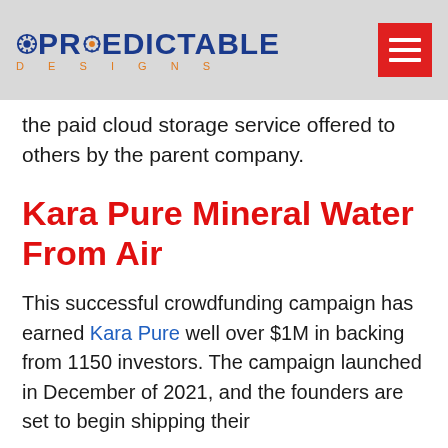PREDICTABLE DESIGNS
the paid cloud storage service offered to others by the parent company.
Kara Pure Mineral Water From Air
This successful crowdfunding campaign has earned Kara Pure well over $1M in backing from 1150 investors. The campaign launched in December of 2021, and the founders are set to begin shipping their